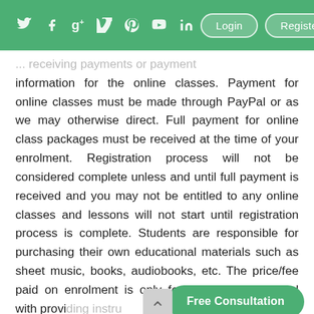Twitter Facebook Google+ Vimeo Pinterest YouTube LinkedIn Login Register
... receiving payments or payment information for the online classes. Payment for online classes must be made through PayPal or as we may otherwise direct. Full payment for online class packages must be received at the time of your enrolment. Registration process will not be considered complete unless and until full payment is received and you may not be entitled to any online classes and lessons will not start until registration process is complete. Students are responsible for purchasing their own educational materials such as sheet music, books, audiobooks, etc. The price/fee paid on enrolment is only for the fees associated with providing instructions.